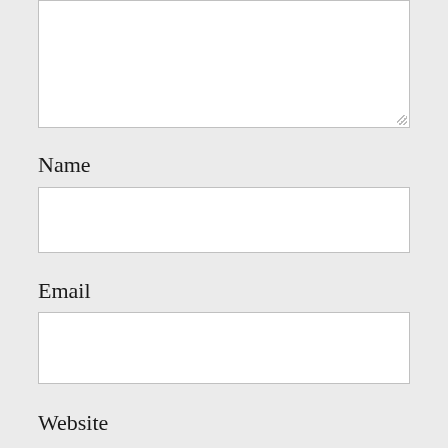[Figure (other): Textarea input box (top portion visible, cut off at top), with resize handle at bottom-right corner]
Name
[Figure (other): Single-line text input field for Name]
Email
[Figure (other): Single-line text input field for Email]
Website